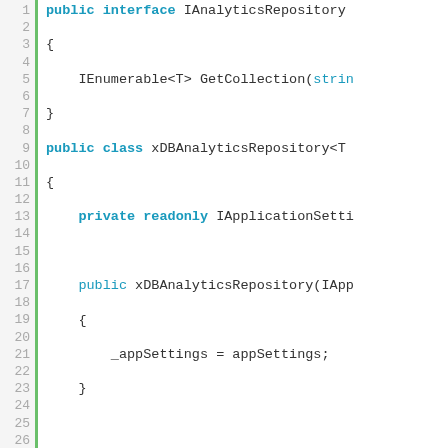[Figure (screenshot): Code editor screenshot showing C# source code for IAnalyticsRepository interface and xDBAnalyticsRepository class implementation with line numbers 1-26 on the left and a green vertical bar separator.]